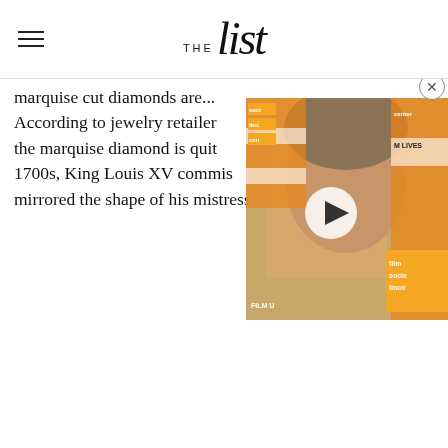THE list
marquise cut diamonds are... According to jewelry retailer the marquise diamond is quite... 1700s, King Louis XV commis... mirrored the shape of his mistress' lips.
[Figure (screenshot): Video overlay showing a man at a film society Lincoln Center event, with a play button overlay. Orange film society badges visible.]